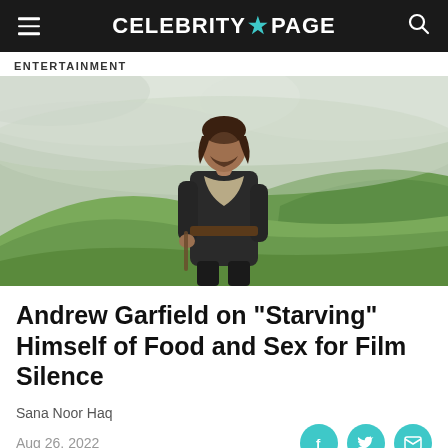CELEBRITY★PAGE
ENTERTAINMENT
[Figure (photo): A man with curly dark hair wearing a dark robe and beige scarf stands on a misty green hillside. The background shows foggy green mountains.]
Andrew Garfield on "Starving" Himself of Food and Sex for Film Silence
Sana Noor Haq
Aug 26, 2022